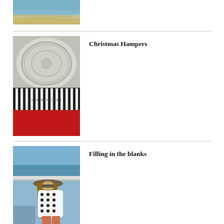[Figure (photo): Partial beach photo showing sand and waves, cropped at top of page]
[Figure (photo): Harvey Nichols Christmas hamper showing a decorative coin/medal on top and striped bag with red base]
Christmas Hampers
[Figure (photo): Woman in polka dot dress and hat standing on a boat with the sea in the background]
Filling in the blanks